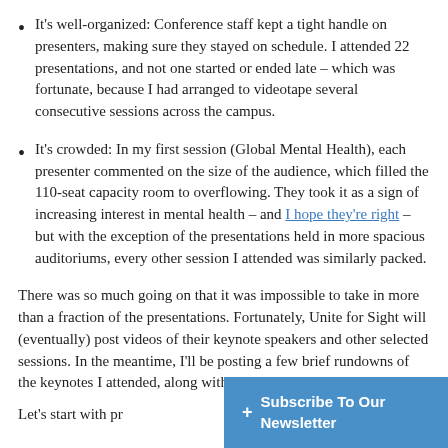It's well-organized: Conference staff kept a tight handle on presenters, making sure they stayed on schedule. I attended 22 presentations, and not one started or ended late – which was fortunate, because I had arranged to videotape several consecutive sessions across the campus.
It's crowded: In my first session (Global Mental Health), each presenter commented on the size of the audience, which filled the 110-seat capacity room to overflowing. They took it as a sign of increasing interest in mental health – and I hope they're right – but with the exception of the presentations held in more spacious auditoriums, every other session I attended was similarly packed.
There was so much going on that it was impossible to take in more than a fraction of the presentations. Fortunately, Unite for Sight will (eventually) post videos of their keynote speakers and other selected sessions. In the meantime, I'll be posting a few brief rundowns of the keynotes I attended, along with some videos.
Let's start with pr...